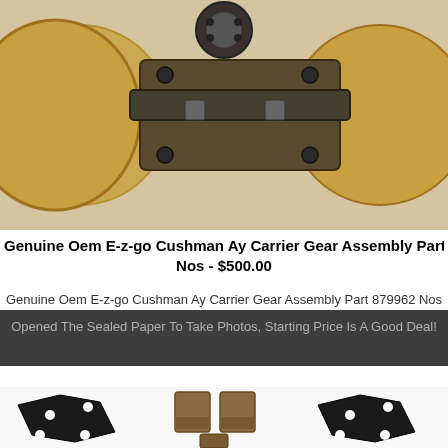[Figure (photo): Close-up photo of a brass/gold colored gear assembly with dark metal hardware on top, showing the Cushman Ay Carrier Gear Assembly Part 879962.]
Genuine Oem E-z-go Cushman Ay Carrier Gear Assembly Part 879962 Nos - $500.00
Genuine Oem E-z-go Cushman Ay Carrier Gear Assembly Part 879962 Nos
Opened The Sealed Paper To Take Photos, Starting Price Is A Good Deal!
[Figure (photo): Product photo showing brake or clutch related parts: two brown/tan rectangular blocks in the center, two black diamond/rhombus shaped metal plates on the left and right sides, and a small brown piece at the bottom center, all on white background.]